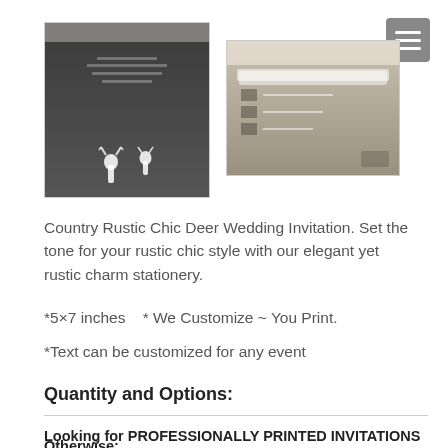[Figure (photo): Two product images: a dark chalkboard-style country rustic deer wedding invitation on the left, and a coordinating RSVP card with lace detail on the right]
Country Rustic Chic Deer Wedding Invitation. Set the tone for your rustic chic style with our elegant yet rustic charm stationery.
*5×7 inches   * We Customize ~ You Print.
*Text can be customized for any event
Quantity and Options:
Looking for PROFESSIONALLY PRINTED INVITATIONS instead? CLICK HERE
Otherwise: